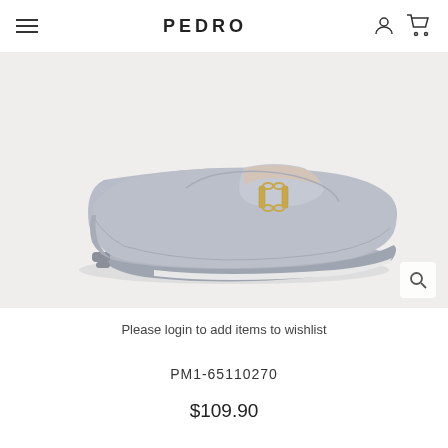PEDRO
[Figure (photo): Side view of a grey suede loafer/driving moccasin with gold horsebit chain detail on the vamp. The shoe is light grey with a cushioned insole and rubber sole, photographed on a light beige/cream background.]
Please login to add items to wishlist
PM1-65110270
$109.90